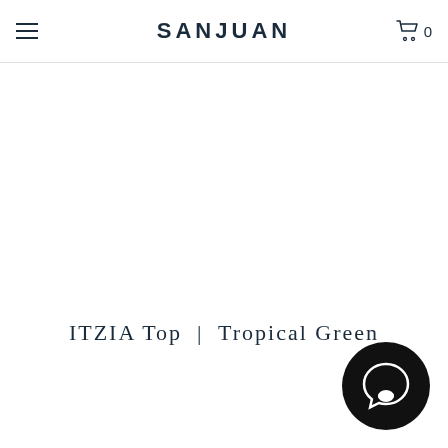SANJUAN
ITZIA Top | Tropical Green
[Figure (illustration): Chat bubble / messenger icon, black circle with white speech bubble cutout, bottom right corner]